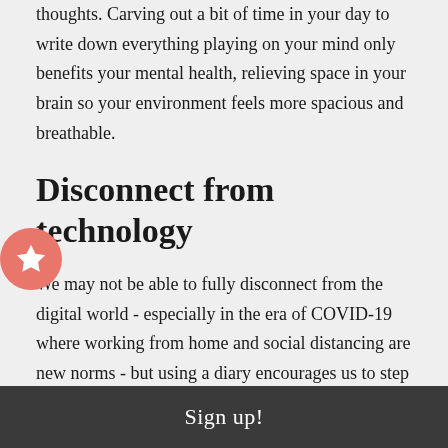thoughts. Carving out a bit of time in your day to write down everything playing on your mind only benefits your mental health, relieving space in your brain so your environment feels more spacious and breathable.
Disconnect from technology
We may not be able to fully disconnect from the digital world - especially in the era of COVID-19 where working from home and social distancing are new norms - but using a diary encourages us to step away from all the technological noise, even just for a few minutes every day. Taking some time out to plan ahead for appointments and activities, as well as reflect on your current goals, will do wonders for your physical, mental and emotional health.
Sign up!